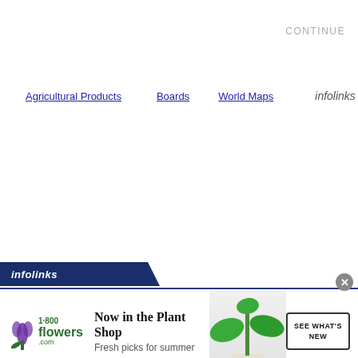CONTINUE
Agricultural Products   Boards   World Maps   infolinks
[Figure (other): Infolinks banner bar with infolinks logo/brand in white italic text on dark blue angled background]
[Figure (other): Advertisement banner: 1-800-flowers.com ad with logo, headline 'Now in the Plant Shop', subtext 'Fresh picks for summer', plant photo, and 'SEE WHAT'S NEW' CTA button. Close button (x) in top right corner.]